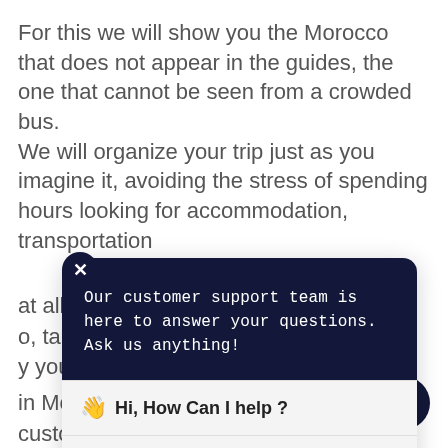For this we will show you the Morocco that does not appear in the guides, the one that cannot be seen from a crowded bus. We will organize your trip just as you imagine it, avoiding the stress of spending hours looking for accommodation, transportation
at all times. We take, taking you wherever, y your side if problems
[Figure (screenshot): Customer support chat popup overlay with dark navy header reading 'Our customer support team is here to answer your questions. Ask us anything!' and a light bottom section showing a waving hand emoji and 'Hi, How Can I help ?' with a 'Get Fast Reply' input bar and send arrow. A close button (X) is in the top-left corner of the popup.]
in Morocco, and as is customary here, rest assured that we will
[Figure (other): Orange circular chat button at bottom left, and navy circular up-arrow button at bottom right]